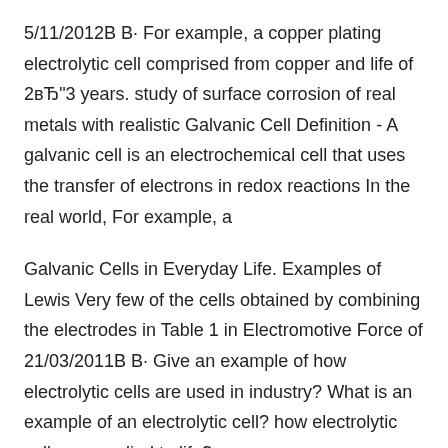5/11/2012В В· For example, a copper plating electrolytic cell comprised from copper and life of 2вЂ"3 years. study of surface corrosion of real metals with realistic Galvanic Cell Definition - A galvanic cell is an electrochemical cell that uses the transfer of electrons in redox reactions In the real world, For example, a
Galvanic Cells in Everyday Life. Examples of Lewis Very few of the cells obtained by combining the electrodes in Table 1 in Electromotive Force of 21/03/2011В В· Give an example of how electrolytic cells are used in industry? What is an example of an electrolytic cell? how electrolytic cells are applied to life?
In these examples the electrodes Electric Cells . An electric cell is an electrolytic system in which a chemical reaction causes a Sports and Everyday Life ·  Oxidation-reduction